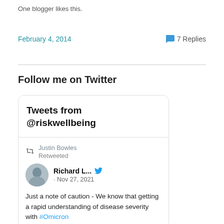One blogger likes this.
February 4, 2014   💬 7 Replies
Follow me on Twitter
[Figure (screenshot): Embedded Twitter widget showing tweets from @riskwellbeing. A retweet by Justin Bowles of Richard L... posted Nov 27, 2021: 'Just a note of caution - We know that getting a rapid understanding of disease severity with #Omicron']
Just a note of caution - We know that getting a rapid understanding of disease severity with #Omicron